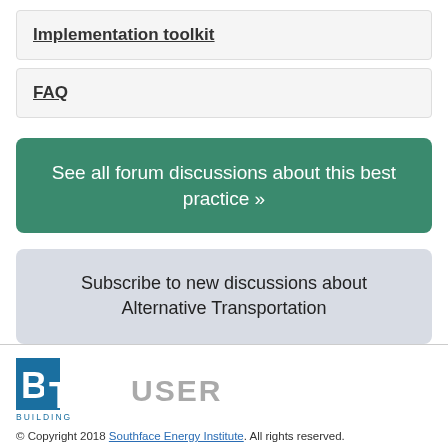Implementation toolkit
FAQ
See all forum discussions about this best practice »
Subscribe to new discussions about Alternative Transportation
[Figure (logo): BiT Building USER logo]
© Copyright 2018 Southface Energy Institute. All rights reserved.